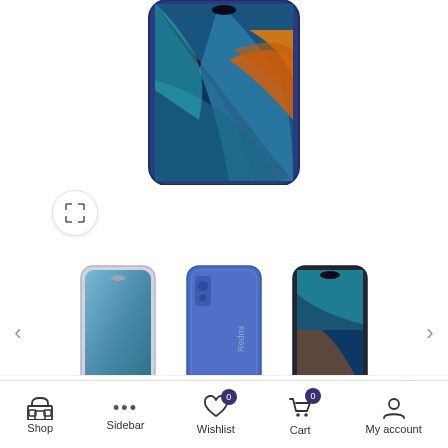[Figure (photo): Top portion of a Redmi smartphone (Redmi 9 Power or similar) showing the screen with colorful abstract wallpaper in blue, teal, and orange tones, set against a white background.]
[Figure (photo): Expand/zoom button (arrows pointing outward) in a white circular button.]
[Figure (photo): Carousel of three Redmi smartphone photos: left shows front with blue-teal gradient back, center shows back in blue with Redmi branding, right shows front face with screen on.]
Home / Smart Phones / Android Phones / Redmi
[Figure (other): WhatsApp chat button (green circle with white WhatsApp logo).]
[Figure (other): Scroll to top button (white circle with upward chevron arrow).]
Shop  Sidebar  Wishlist 0  Cart 0  My account